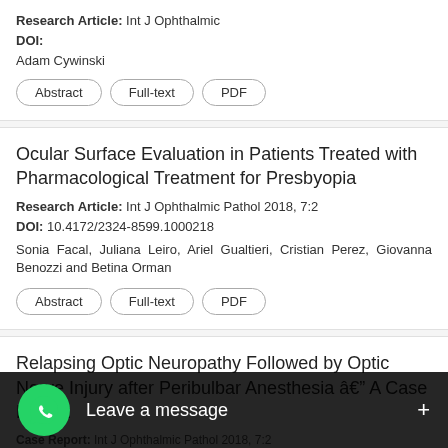Research Article: Int J Ophthalmic
DOI:
Adam Cywinski
Abstract | Full-text | PDF
Ocular Surface Evaluation in Patients Treated with Pharmacological Treatment for Presbyopia
Research Article: Int J Ophthalmic Pathol 2018, 7:2
DOI: 10.4172/2324-8599.1000218
Sonia Facal, Juliana Leiro, Ariel Gualtieri, Cristian Perez, Giovanna Benozzi and Betina Orman
Abstract | Full-text | PDF
Relapsing Optic Neuropathy Followed by Optic Nerve Injury after Peribulbar Anesthesia â A Case Report
Case Report: Int J Ophthalmic Pathol 2018, 7:2
I-An